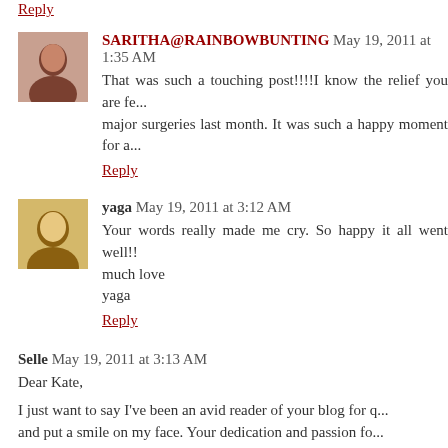Reply
SARITHA@RAINBOWBUNTING May 19, 2011 at 1:35 AM
That was such a touching post!!!!I know the relief you are fe... major surgeries last month. It was such a happy moment for a...
Reply
yaga May 19, 2011 at 3:12 AM
Your words really made me cry. So happy it all went well!!
much love
yaga
Reply
Selle May 19, 2011 at 3:13 AM
Dear Kate,
I just want to say I've been an avid reader of your blog for q... and put a smile on my face. Your dedication and passion fo... your optimistic and spirited voice, it really opens my eyes a... place even on days when trivial things get me down. You live... day(I'm still in uni and therefore feel I have not lived much yet)